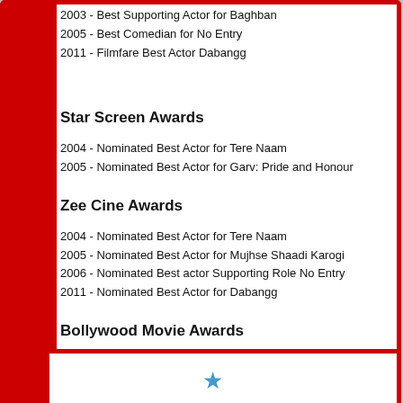2003 - Best Supporting Actor for Baghban
2005 - Best Comedian for No Entry
2011 - Filmfare Best Actor Dabangg
Star Screen Awards
2004 - Nominated Best Actor for Tere Naam
2005 - Nominated Best Actor for Garv: Pride and Honour
Zee Cine Awards
2004 - Nominated Best Actor for Tere Naam
2005 - Nominated Best Actor for Mujhse Shaadi Karogi
2006 - Nominated Best actor Supporting Role No Entry
2011 - Nominated Best Actor for Dabangg
Bollywood Movie Awards
2002 - Winner Bollywood Movie Award - Most Sensational Actor, Chori Chori C
Honour
2007 - "Rajiv Gandhi Award" for outstanding achievement in entertainment